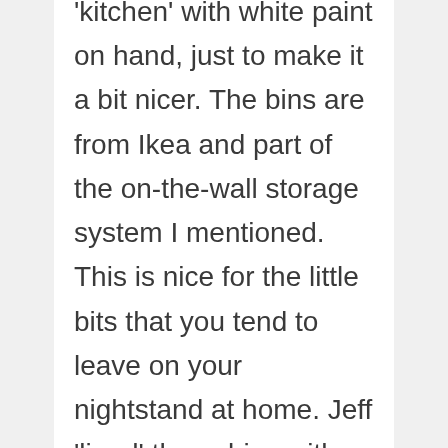'kitchen' with white paint on hand, just to make it a bit nicer. The bins are from Ikea and part of the on-the-wall storage system I mentioned. This is nice for the little bits that you tend to leave on your nightstand at home. Jeff 'lined' these bins with plastic beaded shelf liner so they don't rattle while we're driving.

I made the curtains with the heavier ticking on the inside and horrible poly crepe on the outside which is black so that it's less obvious when we are in the van